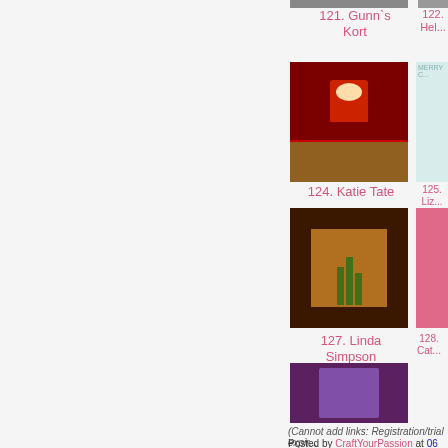[Figure (photo): Thumbnail image top (cropped) for entry 121]
[Figure (photo): Thumbnail image top (cropped) for entry 122]
121. Gunn`s Kort
122. Hel...
[Figure (photo): Santa Claus Christmas card - entry 124 Katie Tate]
[Figure (photo): Merry Christmas white floral card - entry 125 Liz]
124. Katie Tate
125. Liz...
[Figure (photo): Tulips on dark patterned card - entry 127 Linda Simpson]
[Figure (photo): Girl with pink background - entry 128 Cat...]
127. Linda Simpson
128. Cat...
[Figure (photo): Clock/ornament on purple background - entry 130 E. Marie]
130. E. Marie
(Cannot add links: Registration/trial expir...
Posted by CraftYourPassion at 06...